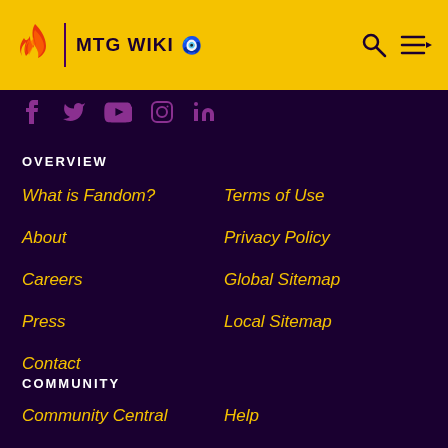MTG WIKI
[Figure (logo): Fandom flame logo in red/orange on yellow header bar]
[Figure (illustration): Social media icons: Facebook, Twitter, YouTube, Instagram, LinkedIn]
OVERVIEW
What is Fandom?
Terms of Use
About
Privacy Policy
Careers
Global Sitemap
Press
Local Sitemap
Contact
COMMUNITY
Community Central
Help
Support